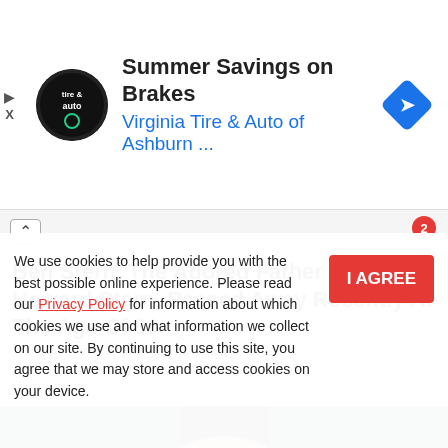[Figure (screenshot): Advertisement banner for Virginia Tire & Auto of Ashburn showing logo, headline 'Summer Savings on Brakes', and a blue diamond navigation arrow icon]
Ben Stern, The Adored Father Of Howard Stern, Passed Away Recently At The Age Of 99
[Figure (photo): Partial photo showing the back of a person's head with blonde/white hair against a teal/dark background]
We use cookies to help provide you with the best possible online experience. Please read our Privacy Policy for information about which cookies we use and what information we collect on our site. By continuing to use this site, you agree that we may store and access cookies on your device.